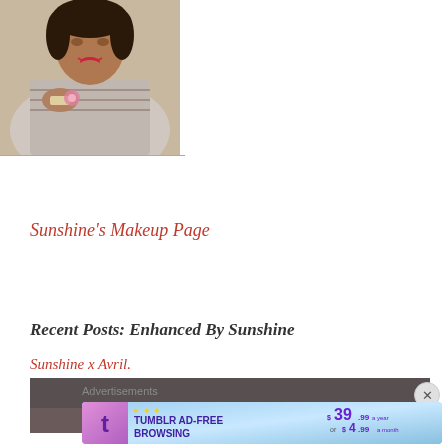[Figure (photo): Photo of a woman in a patterned top blowing a kiss, cropped at top of page]
Sunshine's Makeup Page
Recent Posts: Enhanced By Sunshine
Sunshine x Avril.
[Figure (photo): Dark strip showing top of a person's head against a dark background]
Advertisements
[Figure (screenshot): Tumblr Ad-Free Browsing advertisement banner: $39.99 a year or $4.99 a month]